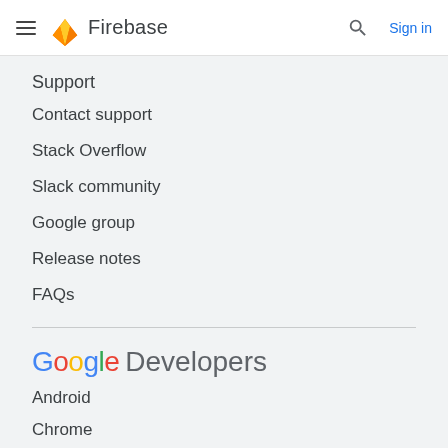Firebase — Sign in
Support
Contact support
Stack Overflow
Slack community
Google group
Release notes
FAQs
[Figure (logo): Google Developers logo with colorful Google letters and grey Developers text]
Android
Chrome
Firebase